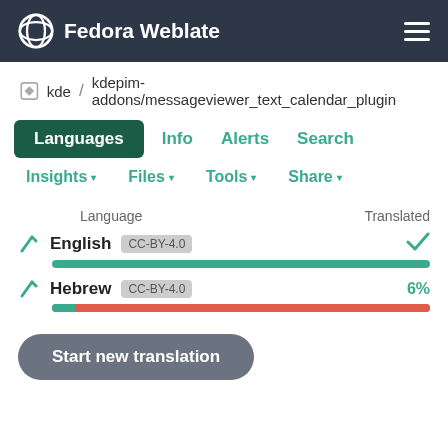Fedora Weblate
kde / kdepim-addons/messageviewer_text_calendar_plugin
Languages | Info | Alerts | Search
Insights ▾  Files ▾  Tools ▾  Share ▾
| Language | Translated |
| --- | --- |
| English  CC-BY-4.0 | ✓ |
| Hebrew  CC-BY-4.0 | 6% |
Start new translation